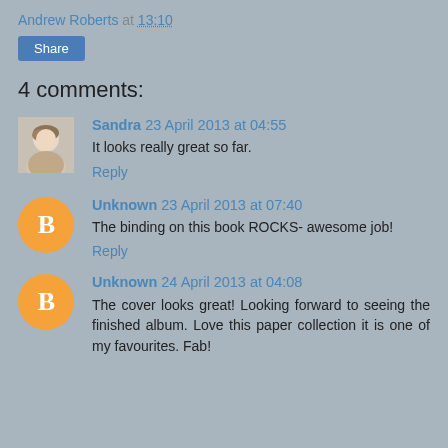Andrew Roberts at 13:10
Share
4 comments:
Sandra 23 April 2013 at 04:55
It looks really great so far.
Reply
Unknown 23 April 2013 at 07:40
The binding on this book ROCKS- awesome job!
Reply
Unknown 24 April 2013 at 04:08
The cover looks great! Looking forward to seeing the finished album. Love this paper collection it is one of my favourites. Fab!